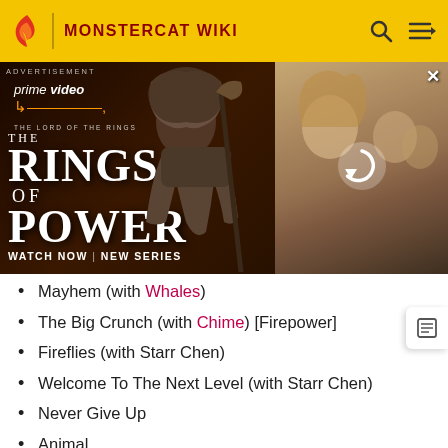MONSTERCAT WIKI
[Figure (photo): Amazon Prime Video advertisement for The Lord of the Rings: The Rings of Power. Left side shows title text 'THE RINGS OF POWER' with 'prime video' logo and 'WATCH NOW | NEW SERIES' text over a dark background with a hooded warrior figure. Right side shows a scene with a blonde woman and other figures with a reload icon overlay and close button.]
Mayhem (with Whales)
The Big Crunch (with Chime) [Firepower]
Fireflies (with Starr Chen)
Welcome To The Next Level (with Starr Chen)
Never Give Up
Animal
Immortal Flame (with Panda Eyes, feat. Anna Yvette)
Are You Ready
Flight